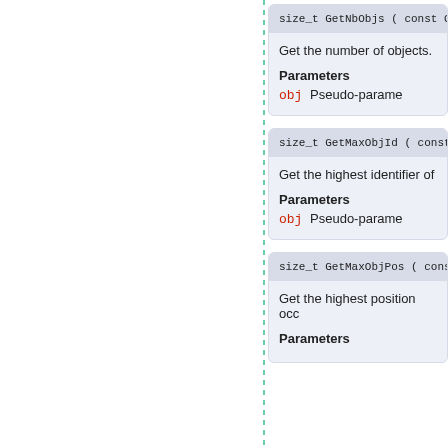size_t GetNbObjs ( const C * ob
Get the number of objects.
Parameters
obj Pseudo-param...
size_t GetMaxObjId ( const C *
Get the highest identifier of
Parameters
obj Pseudo-param...
size_t GetMaxObjPos ( const C
Get the highest position occ...
Parameters